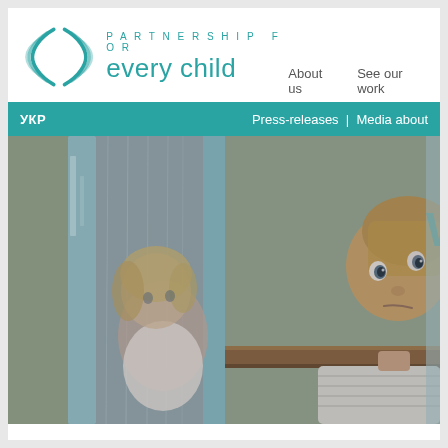[Figure (logo): Partnership for Every Child logo with teal parenthesis symbols and text]
About us   See our work
УКР   Press-releases | Media about
[Figure (photo): Two young children looking through a rain-streaked window, one behind the glass and one leaning on a wooden ledge]